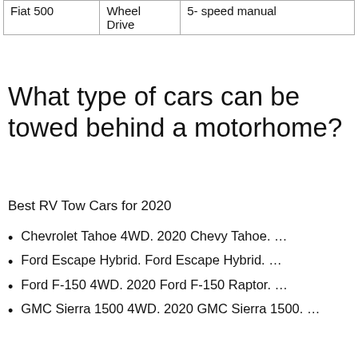| Fiat 500 | Wheel Drive | 5- speed manual |
What type of cars can be towed behind a motorhome?
Best RV Tow Cars for 2020
Chevrolet Tahoe 4WD. 2020 Chevy Tahoe. …
Ford Escape Hybrid. Ford Escape Hybrid. …
Ford F-150 4WD. 2020 Ford F-150 Raptor. …
GMC Sierra 1500 4WD. 2020 GMC Sierra 1500. …